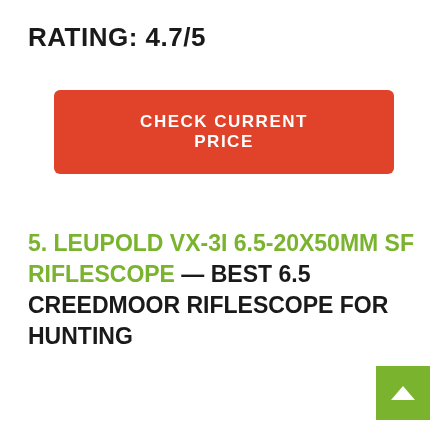RATING: 4.7/5
CHECK CURRENT PRICE
5. LEUPOLD VX-3I 6.5-20X50MM SF RIFLESCOPE — BEST 6.5 CREEDMOOR RIFLESCOPE FOR HUNTING